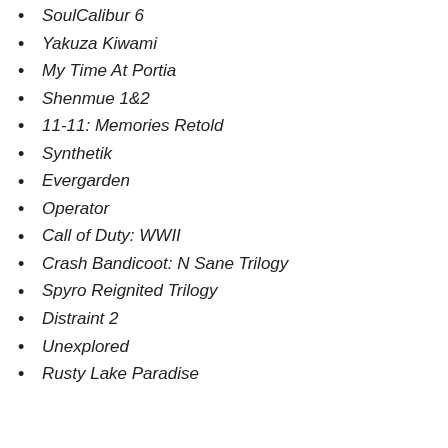SoulCalibur 6
Yakuza Kiwami
My Time At Portia
Shenmue 1&2
11-11: Memories Retold
Synthetik
Evergarden
Operator
Call of Duty: WWII
Crash Bandicoot: N Sane Trilogy
Spyro Reignited Trilogy
Distraint 2
Unexplored
Rusty Lake Paradise